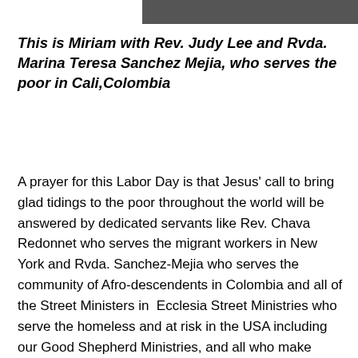[Figure (photo): Partial photo strip of people visible at the top of the page, cropped]
This is Miriam with Rev. Judy Lee and Rvda. Marina Teresa Sanchez Mejia, who serves the poor in Cali,Colombia
A prayer for this Labor Day is that Jesus' call to bring glad tidings to the poor throughout the world will be answered by dedicated servants like Rev. Chava Redonnet who serves the migrant workers in New York and Rvda. Sanchez-Mejia who serves the community of Afro-descendents in Colombia and all of the Street Ministers in Ecclesia Street Ministries who serve the homeless and at risk in the USA including our Good Shepherd Ministries, and all who make efforts in various ways to bring glad tidings to the poor and who stand with them as they seek justice.